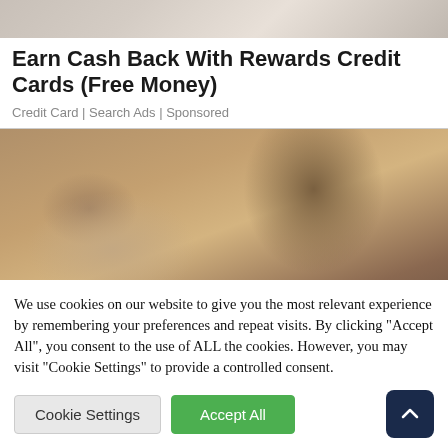[Figure (photo): Partial top image, appears to be a photo with light/neutral colors, cropped at top]
Earn Cash Back With Rewards Credit Cards (Free Money)
Credit Card | Search Ads | Sponsored
[Figure (photo): Photo of a stressed woman with hands on head looking in a mirror]
We use cookies on our website to give you the most relevant experience by remembering your preferences and repeat visits. By clicking "Accept All", you consent to the use of ALL the cookies. However, you may visit "Cookie Settings" to provide a controlled consent.